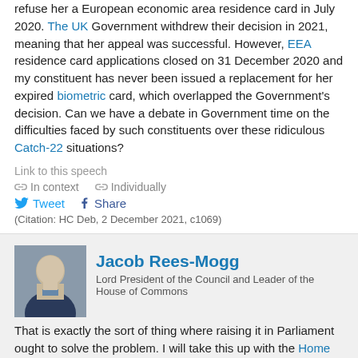refuse her a European economic area residence card in July 2020. The UK Government withdrew their decision in 2021, meaning that her appeal was successful. However, EEA residence card applications closed on 31 December 2020 and my constituent has never been issued a replacement for her expired biometric card, which overlapped the Government's decision. Can we have a debate in Government time on the difficulties faced by such constituents over these ridiculous Catch-22 situations?
Link to this speech
In context   Individually
Tweet  Share
(Citation: HC Deb, 2 December 2021, c1069)
Jacob Rees-Mogg
Lord President of the Council and Leader of the House of Commons
That is exactly the sort of thing where raising it in Parliament ought to solve the problem. I will take this up with the Home Office if the hon. Gentleman will send me more details. There is nothing more frustrating than when the Government say, "We were considering your